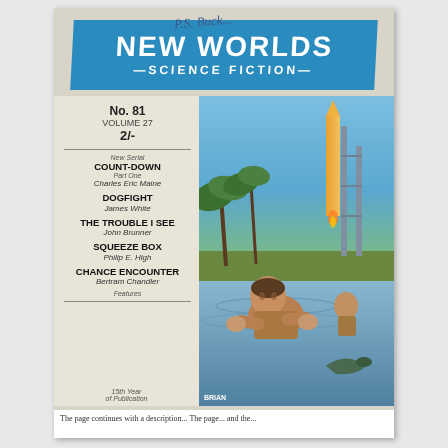[Figure (illustration): Magazine cover of 'New Worlds Science Fiction' No. 81, Volume 27, price 2/-. Cover art shows a man crouching in water in the foreground with a rocket launch tower in the background and palm trees. Handwritten text at top reads 'P.S. Buck...' Blue banner with magazine title dominates the upper portion. Left sidebar lists story titles and authors including Count-Down by Charles Eric Maine, Dogfight by James White, The Trouble I See by John Brunner, Squeeze Box by Philip E. High, Chance Encounter by Bertram Chandler. Bottom left reads '15th Year of Publication'. Artist signature 'BRIAN' visible at bottom of illustration.]
The page continues with a description...